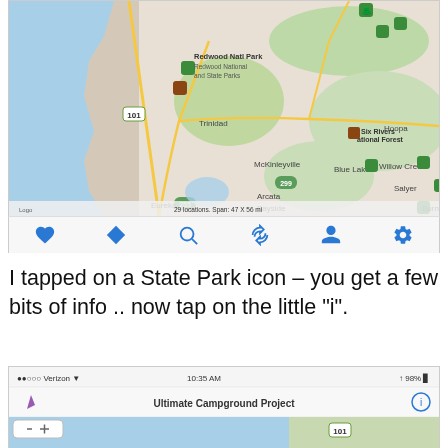[Figure (screenshot): Mobile app map screenshot showing Redwood National Park area with campground/park icons, toolbar with heart, diamond, search, refresh, person, and settings icons. Shows 29 locations, Span: 47 X 56 mi. Places include Trinidad, McKinleyville, Arcata, Bayside, Eureka, Hoopa, Blue Lake, Willow Creek, Salyer, Six Rivers National Forest.]
I tapped on a State Park icon – you get a few bits of info .. now tap on the little “i”.
[Figure (screenshot): Mobile app screenshot showing status bar with Verizon carrier, 10:35 AM time, 98% battery, navigation arrow, Ultimate Campground Project title, info button, and partial map with 101 highway marker and zoom controls (minus and plus buttons).]